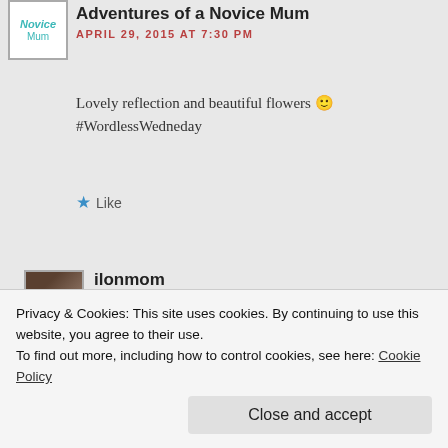[Figure (logo): Adventures of a Novice Mum blog logo - teal box with 'Novice Mum' text]
Adventures of a Novice Mum
APRIL 29, 2015 AT 7:30 PM
Lovely reflection and beautiful flowers 🙂 #WordlessWedneday
Like
[Figure (photo): Small avatar photo of ilonmom commenter]
ilonmom
APRIL 30, 2015 AT 11:47 AM
Thanks and thanks for stopping by...
Privacy & Cookies: This site uses cookies. By continuing to use this website, you agree to their use.
To find out more, including how to control cookies, see here: Cookie Policy
Close and accept